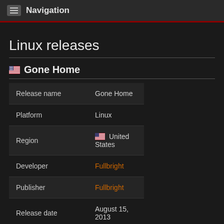Navigation
Linux releases
Gone Home
| Field | Value |
| --- | --- |
| Release name | Gone Home |
| Platform | Linux |
| Region | United States |
| Developer | Fullbright |
| Publisher | Fullbright |
| Release date | August 15, 2013 |
| Product code | None |
| Company code | None |